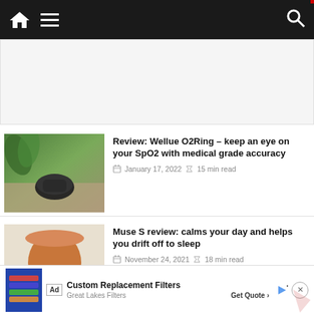Navigation bar with home icon, menu, and search icon
[Figure (photo): Wellue O2Ring device on a wooden surface with plants in the background]
Review: Wellue O2Ring – keep an eye on your SpO2 with medical grade accuracy
January 17, 2022  15 min read
[Figure (photo): Muse S headband device on a brown pot with doily]
Muse S review: calms your day and helps you drift off to sleep
November 24, 2021  18 min read
[Figure (photo): Lumen device with green plants in the background]
Lumen review: get a unique insight into your body & how to properly fuel it
Ad  Custom Replacement Filters  Great Lakes Filters  Get Quote